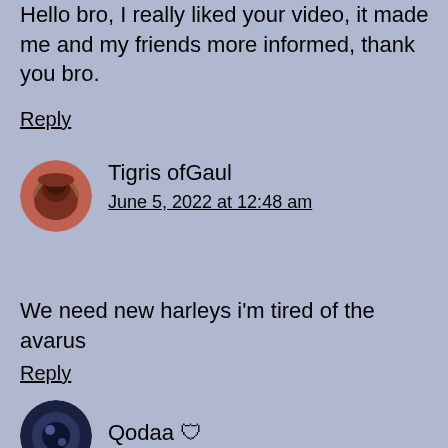Hello bro, I really liked your video, it made me and my friends more informed, thank you bro.
Reply
Tigris ofGaul
June 5, 2022 at 12:48 am
We need new harleys i'm tired of the avarus
Reply
Qodaa 🛡